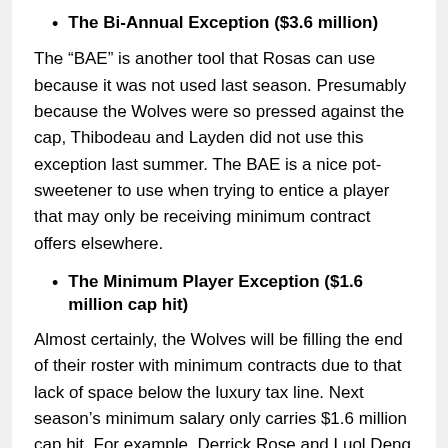The Bi-Annual Exception ($3.6 million)
The “BAE” is another tool that Rosas can use because it was not used last season. Presumably because the Wolves were so pressed against the cap, Thibodeau and Layden did not use this exception last summer. The BAE is a nice pot-sweetener to use when trying to entice a player that may only be receiving minimum contract offers elsewhere.
The Minimum Player Exception ($1.6 million cap hit)
Almost certainly, the Wolves will be filling the end of their roster with minimum contracts due to that lack of space below the luxury tax line. Next season’s minimum salary only carries $1.6 million cap hit. For example, Derrick Rose and Luol Deng earned $2.2 million last season but only cost the Wolves $1.5 million (last season’s minimum). The league pays the difference